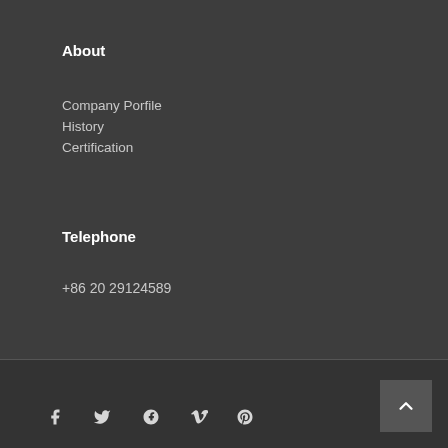About
Company Porfile
History
Certification
Telephone
+86 20 29124589
Address
No.1 Tianfeng Road
Science Town, LuoGang District
Guangzhou City
Social icons: Facebook, Twitter, Google+, Vimeo, Pinterest; Back to top button